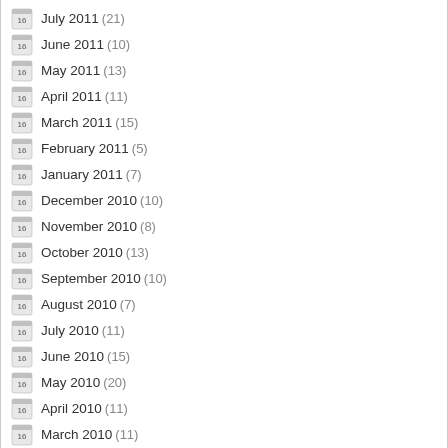July 2011 (21)
June 2011 (10)
May 2011 (13)
April 2011 (11)
March 2011 (15)
February 2011 (5)
January 2011 (7)
December 2010 (10)
November 2010 (8)
October 2010 (13)
September 2010 (10)
August 2010 (7)
July 2010 (11)
June 2010 (15)
May 2010 (20)
April 2010 (11)
March 2010 (11)
February 2010 (19)
January 2010 (12)
December 2009 (13)